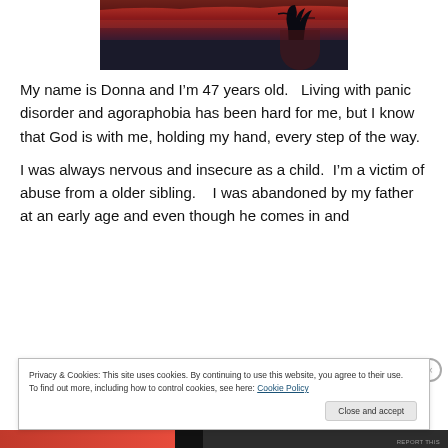[Figure (photo): Dark sunset/dusk photo over water with silhouetted trees, red and dark sky. Watermark: FreeStockPhotos.com]
My name is Donna and I’m 47 years old.   Living with panic disorder and agoraphobia has been hard for me, but I know that God is with me, holding my hand, every step of the way.
I was always nervous and insecure as a child.  I’m a victim of abuse from a older sibling.    I was abandoned by my father at an early age and even though he comes in and
Privacy & Cookies: This site uses cookies. By continuing to use this website, you agree to their use.
To find out more, including how to control cookies, see here: Cookie Policy
Close and accept